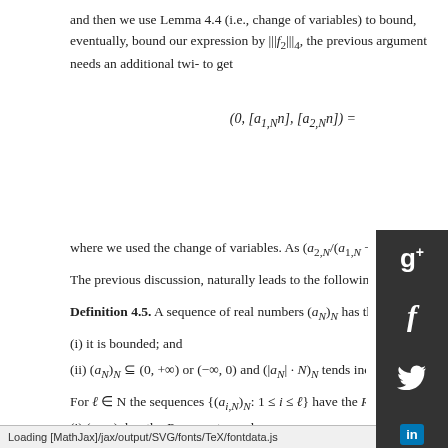and then we use Lemma 4.4 (i.e., change of variables) to bound, eventually, bound our expression by |||f₂|||₄, the previous argument needs an additional twi- to get
where we used the change of variables. As (a_{2,N}/(a_{1,N} − a_{2,N}))_N is b
The previous discussion, naturally leads to the following assumption
Definition 4.5. A sequence of real numbers (a_N)_N has the R₁-proper
(i) it is bounded; and
(ii) (a_N)_N ⊆ (0, +∞) or (−∞, 0) and (|a_N| · N)_N tends increasingly to +∞.
For ℓ ∈ N the sequences {(aᵢ,N)_N: 1 ≤ i ≤ ℓ} have the Rₗ-property if for all 1
(i) (a ...) has the R -property; and
Loading [MathJax]/jax/output/SVG/fonts/TeX/fontdata.js